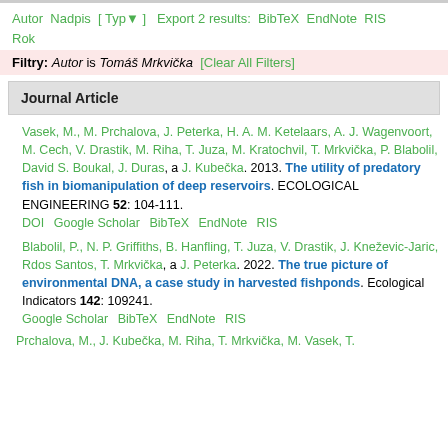Autor Nadpis [ Typ ] Export 2 results: BibTeX EndNote RIS Rok
Filtry: Autor is Tomáš Mrkvička [Clear All Filters]
Journal Article
Vasek, M., M. Prchalova, J. Peterka, H. A. M. Ketelaars, A. J. Wagenvoort, M. Cech, V. Drastik, M. Riha, T. Juza, M. Kratochvil, T. Mrkvička, P. Blabolil, David S. Boukal, J. Duras, a J. Kubečka. 2013. The utility of predatory fish in biomanipulation of deep reservoirs. ECOLOGICAL ENGINEERING 52: 104-111.
DOI Google Scholar BibTeX EndNote RIS
Blabolil, P., N. P. Griffiths, B. Hanfling, T. Juza, V. Drastik, J. Kneževic-Jaric, Rdos Santos, T. Mrkvička, a J. Peterka. 2022. The true picture of environmental DNA, a case study in harvested fishponds. Ecological Indicators 142: 109241.
Google Scholar BibTeX EndNote RIS
Prchalova, M., J. Kubečka, M. Riha, T. Mrkvička, M. Vasek, T.